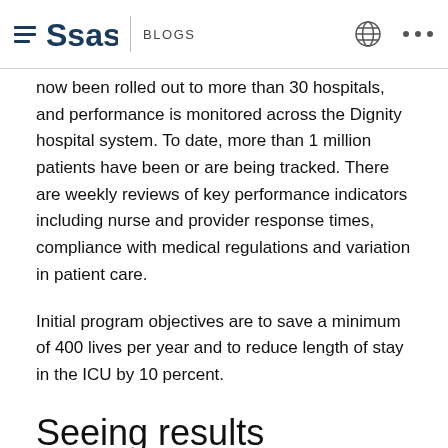SAS BLOGS
now been rolled out to more than 30 hospitals, and performance is monitored across the Dignity hospital system. To date, more than 1 million patients have been or are being tracked. There are weekly reviews of key performance indicators including nurse and provider response times, compliance with medical regulations and variation in patient care.
Initial program objectives are to save a minimum of 400 lives per year and to reduce length of stay in the ICU by 10 percent.
Seeing results
Initial results from the pilot are impressive. During the